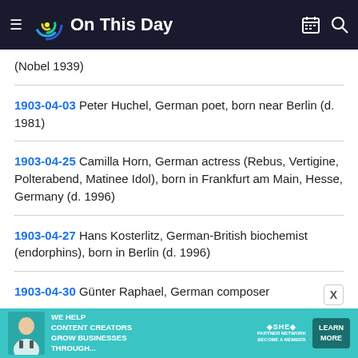On This Day
(Nobel 1939)
1903-04-03 Peter Huchel, German poet, born near Berlin (d. 1981)
1903-04-25 Camilla Horn, German actress (Rebus, Vertigine, Polterabend, Matinee Idol), born in Frankfurt am Main, Hesse, Germany (d. 1996)
1903-04-27 Hans Kosterlitz, German-British biochemist (endorphins), born in Berlin (d. 1996)
1903-04-30 Günter Raphael, German composer
[Figure (other): Advertisement banner for SHE Partner Network: 'We help content creators grow businesses through...' with Learn More button]